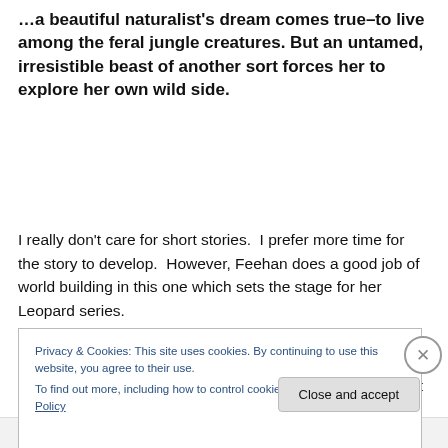…a beautiful naturalist's dream comes true–to live among the feral jungle creatures. But an untamed, irresistible beast of another sort forces her to explore her own wild side.
I really don't care for short stories.  I prefer more time for the story to develop.  However, Feehan does a good job of world building in this one which sets the stage for her Leopard series.
I also learned something new.  Borneo is located northwest of Australia.  I had heard of the island before
Privacy & Cookies: This site uses cookies. By continuing to use this website, you agree to their use.
To find out more, including how to control cookies, see here: Cookie Policy